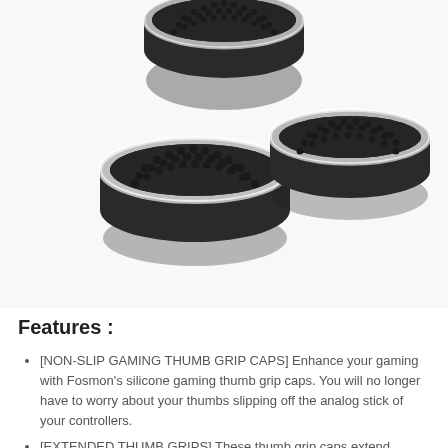[Figure (photo): Three black silicone gaming thumb grip caps with silver ring accents and dotted non-slip surfaces, shown from top-down angle. Two caps on left side at different positions, one cap on right side.]
Features :
[NON-SLIP GAMING THUMB GRIP CAPS] Enhance your gaming with Fosmon’s silicone gaming thumb grip caps. You will no longer have to worry about your thumbs slipping off the analog stick of your controllers.
[EXTENDED THUMB GRIPS] These thumb grip caps extend